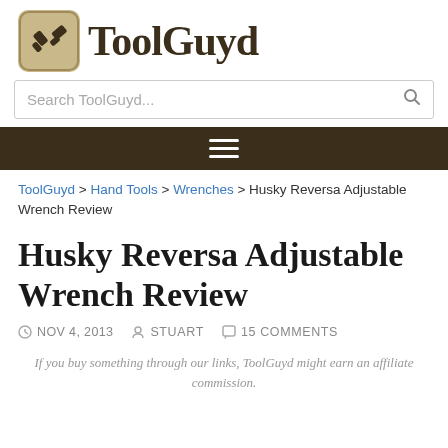[Figure (logo): ToolGuyd logo with hammer icon and wordmark in dark brown]
Search ToolGuyd...
[Figure (other): Dark brown navigation bar with hamburger menu icon]
ToolGuyd > Hand Tools > Wrenches > Husky Reversa Adjustable Wrench Review
Husky Reversa Adjustable Wrench Review
NOV 4, 2013   STUART   15 COMMENTS
If you buy something through our links, ToolGuyd might earn an affiliate commission.